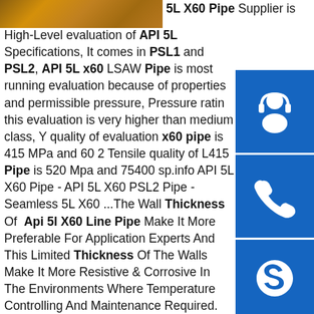[Figure (photo): Photo of API 5L X60 pipes stacked (partial view at top left)]
5L X60 Pipe Supplier is High-Level evaluation of API 5L Specifications, It comes in PSL1 and PSL2, API 5L x60 LSAW Pipe is most running evaluation because of properties and permissible pressure, Pressure rating this evaluation is very higher than medium class, Y quality of evaluation x60 pipe is 415 MPa and 60 2 Tensile quality of L415 Pipe is 520 Mpa and 75400 sp.info API 5L X60 Pipe - API 5L X60 PSL2 Pipe - Seamless 5L X60 ...The Wall Thickness Of Api 5l X60 Line Pipe Make It More Preferable For Application Experts And This Limited Thickness Of The Walls Make It More Resistive & Corrosive In The Environments Where Temperature Controlling And Maintenance Required. Key Applications Of API 5L X60 PSL2 Pipe & PSL1 Pipesp.info API 5L Pipe Specifications,| API 5L Pipe wall thickness ...API 5L seamless & welded pipe American Piping Products stocks API 5L pipe in grades B and X42 – X120. Scope. ANSI / API 5L specifies the manufacture of
[Figure (illustration): Blue icon box with headset/support icon]
[Figure (illustration): Blue icon box with phone/call icon]
[Figure (illustration): Blue icon box with Skype icon]